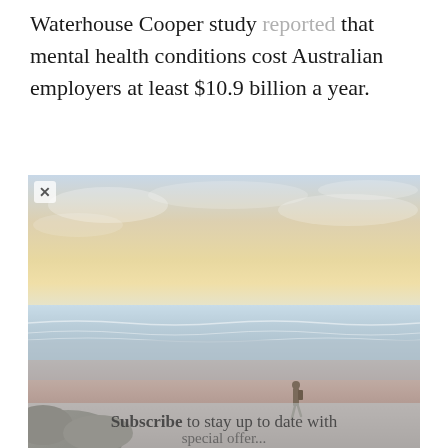Waterhouse Cooper study reported that mental health conditions cost Australian employers at least $10.9 billion a year.
[Figure (photo): A person walking alone on a wide, flat beach at sunset or dawn. The beach has wet sand reflecting pale light, gentle waves in the distance, and a warm pastel sky with soft clouds. Rocky outcrops are visible in the lower left corner. A subscribe overlay text appears at the bottom of the image.]